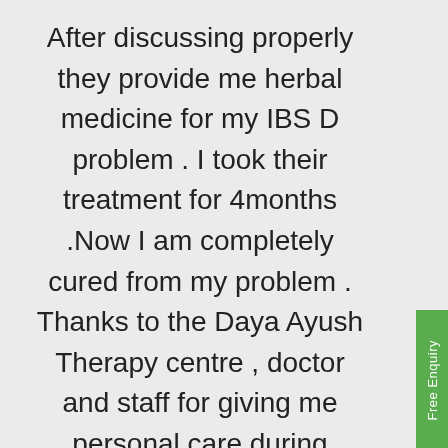After discussing properly they provide me herbal medicine for my IBS D problem . I took their treatment for 4months .Now I am completely cured from my problem . Thanks to the Daya Ayush Therapy centre , doctor and staff for giving me personal care during